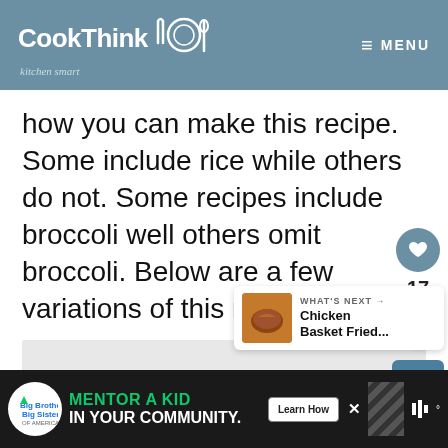CookThink kitchen smart — MENU
how you can make this recipe. Some include rice while others do not. Some recipes include broccoli well others omit broccoli. Below are a few variations of this recipe.
[Figure (photo): Grey image placeholder area below main text]
[Figure (infographic): Social sidebar with heart button (17 likes) and share button]
[Figure (infographic): What's Next widget showing Chicken Basket Fried...]
[Figure (infographic): Advertisement banner: Big Brothers Big Sisters — MENTOR A KID IN YOUR COMMUNITY. Learn How.]